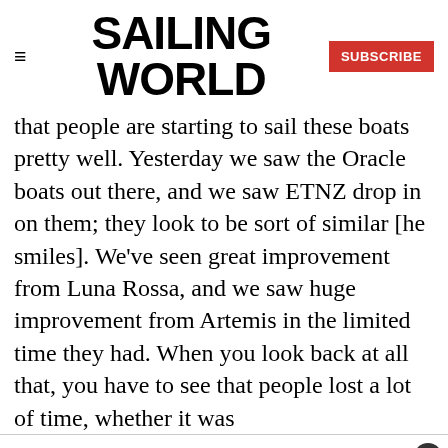SAILING WORLD
that people are starting to sail these boats pretty well. Yesterday we saw the Oracle boats out there, and we saw ETNZ drop in on them; they look to be sort of similar [he smiles]. We've seen great improvement from Luna Rossa, and we saw huge improvement from Artemis in the limited time they had. When you look back at all that, you have to see that people lost a lot of time, whether it was
Oracle capsizing—for one reason or another—as happens in every America's